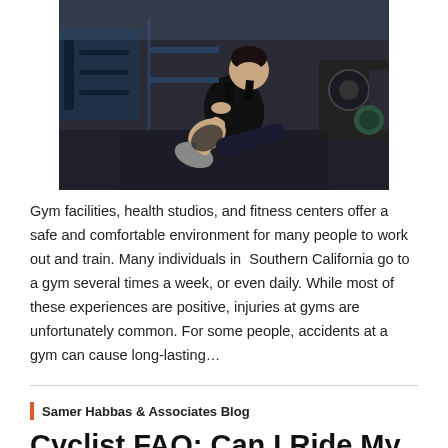[Figure (photo): A man in a black tank top and shorts sitting on the gym floor, holding his leg/shin in pain, with gym equipment visible in the background.]
Gym facilities, health studios, and fitness centers offer a safe and comfortable environment for many people to work out and train. Many individuals in Southern California go to a gym several times a week, or even daily. While most of these experiences are positive, injuries at gyms are unfortunately common. For some people, accidents at a gym can cause long-lasting…
Samer Habbas & Associates Blog
Cyclist FAQ: Can I Ride My Bike On